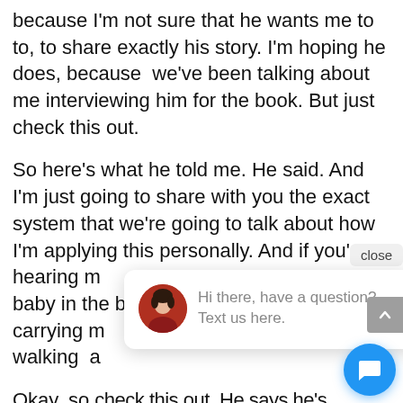because I'm not sure that he wants me to to, to share exactly his story. I'm hoping he does, because we've been talking about me interviewing him for the book. But just check this out.
So here's what he told me. He said. And I'm just going to share with you the exact system that we're going to talk about how I'm applying this personally. And if you're hearing my baby in the background, yes, I'm carrying my... walking a...
Okay, so check this out. He says he's on a road trip for another eight days because he chooses only eight days a month that he works. And he says, The key thing is ask yourself this. So
[Figure (other): Chat popup widget with avatar photo of a woman, text 'Hi there, have a question? Text us here.' with a close button, and a blue circular chat icon button.]